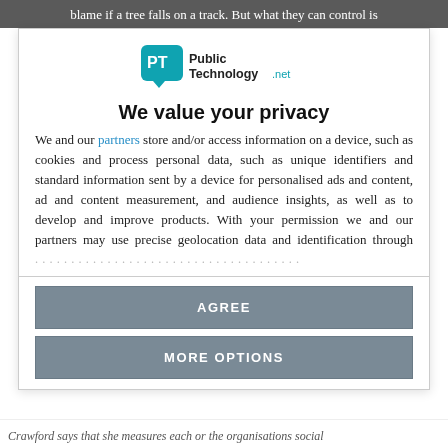blame if a tree falls on a track. But what they can control is
[Figure (logo): PublicTechnology.net logo — PT icon in teal speech bubble followed by 'Public Technology.net' text]
We value your privacy
We and our partners store and/or access information on a device, such as cookies and process personal data, such as unique identifiers and standard information sent by a device for personalised ads and content, ad and content measurement, and audience insights, as well as to develop and improve products. With your permission we and our partners may use precise geolocation data and identification through device scanning. You may click to consent to our and our partners' processing as described above. Alternatively you may access more
AGREE
MORE OPTIONS
Crawford says that she measures each or the organisations social